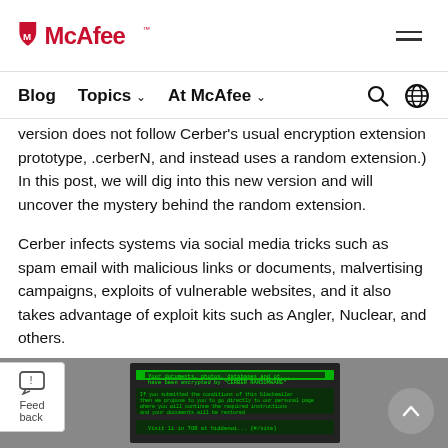McAfee
Blog  Topics  At McAfee
version does not follow Cerber's usual encryption extension prototype, .cerberN, and instead uses a random extension.) In this post, we will dig into this new version and will uncover the mystery behind the random extension.
Cerber infects systems via social media tricks such as spam email with malicious links or documents, malvertising campaigns, exploits of vulnerable websites, and it also takes advantage of exploit kits such as Angler, Nuclear, and others.
[Figure (screenshot): Screenshot of a ransomware infection notice on a Windows desktop, showing green text on a dark grey background with a ransomware payment message.]